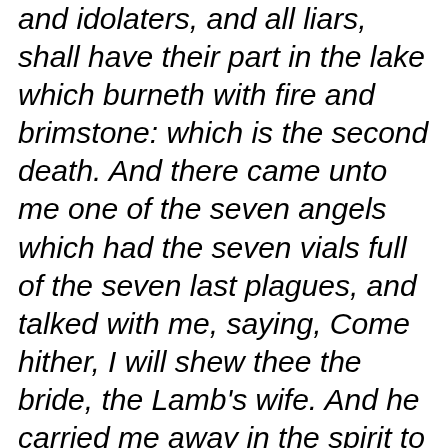and idolaters, and all liars, shall have their part in the lake which burneth with fire and brimstone: which is the second death. And there came unto me one of the seven angels which had the seven vials full of the seven last plagues, and talked with me, saying, Come hither, I will shew thee the bride, the Lamb's wife. And he carried me away in the spirit to a great and high mountain, and shewed me that great city, the holy Jerusalem, descending out of heaven from God, Having the glory of God: and her light was like unto a stone most precious, even like a jasper stone, clear as crystal;...And I saw no temple therein: for the Lord God Almighty and the Lamb are the temple of it. And the city had no need of the sun, neither of the moon, to shine in it: for the